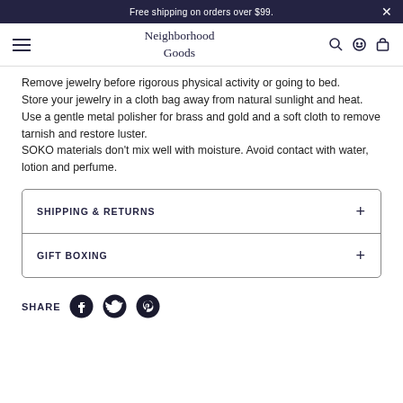Free shipping on orders over $99.
Neighborhood Goods
Remove jewelry before rigorous physical activity or going to bed.
Store your jewelry in a cloth bag away from natural sunlight and heat.
Use a gentle metal polisher for brass and gold and a soft cloth to remove tarnish and restore luster.
SOKO materials don't mix well with moisture. Avoid contact with water, lotion and perfume.
SHIPPING & RETURNS
GIFT BOXING
SHARE